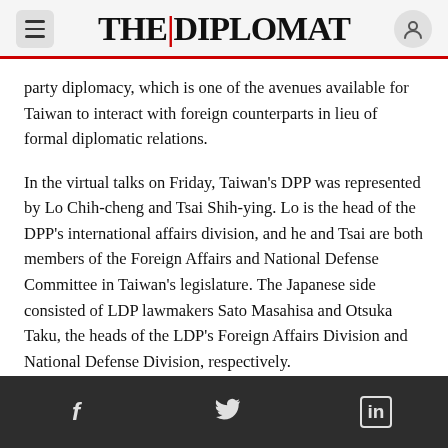THE DIPLOMAT
party diplomacy, which is one of the avenues available for Taiwan to interact with foreign counterparts in lieu of formal diplomatic relations.
In the virtual talks on Friday, Taiwan's DPP was represented by Lo Chih-cheng and Tsai Shih-ying. Lo is the head of the DPP's international affairs division, and he and Tsai are both members of the Foreign Affairs and National Defense Committee in Taiwan's legislature. The Japanese side consisted of LDP lawmakers Sato Masahisa and Otsuka Taku, the heads of the LDP's Foreign Affairs Division and National Defense Division, respectively.
f  twitter  in